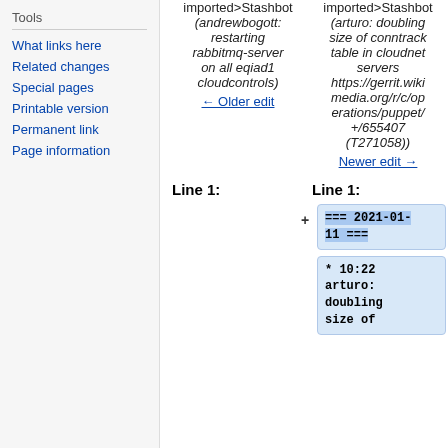Tools
What links here
Related changes
Special pages
Printable version
Permanent link
Page information
imported>Stashbot (andrewbogott: restarting rabbitmq-server on all eqiad1 cloudcontrols)
← Older edit
imported>Stashbot (arturo: doubling size of conntrack table in cloudnet servers https://gerrit.wikimedia.org/r/c/operations/puppet/+/655407 (T271058))
Newer edit →
Line 1:
Line 1:
+
=== 2021-01-11 ===
* 10:22 arturo: doubling size of